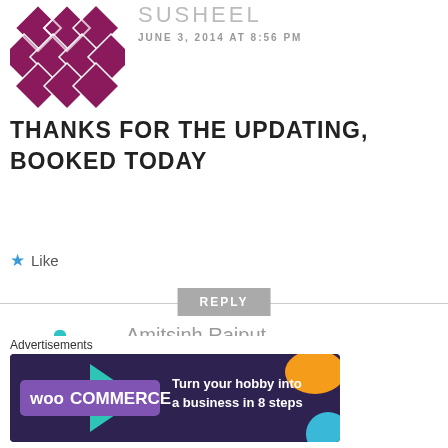[Figure (illustration): Purple geometric diamond/quilt pattern avatar icon]
SUSHEEL
JUNE 3, 2014 AT 8:56 PM
THANKS FOR THE UPDATING, BOOKED TODAY
★ Like
REPLY
[Figure (illustration): Cyan geometric snowflake/asterisk pattern avatar icon]
Amitsinh Rajput
JUNE 3, 2014 AT 9:10 PM
again out of stock before
Advertisements
[Figure (screenshot): WooCommerce advertisement banner: Turn your hobby into a business in 8 steps]